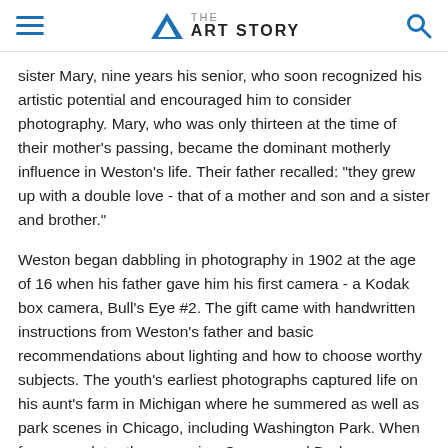THE ART STORY
sister Mary, nine years his senior, who soon recognized his artistic potential and encouraged him to consider photography. Mary, who was only thirteen at the time of their mother's passing, became the dominant motherly influence in Weston's life. Their father recalled: "they grew up with a double love - that of a mother and son and a sister and brother."
Weston began dabbling in photography in 1902 at the age of 16 when his father gave him his first camera - a Kodak box camera, Bull's Eye #2. The gift came with handwritten instructions from Weston's father and basic recommendations about lighting and how to choose worthy subjects. The youth's earliest photographs captured life on his aunt's farm in Michigan where he summered as well as park scenes in Chicago, including Washington Park. When four years later the magazine Camera and Darkroom